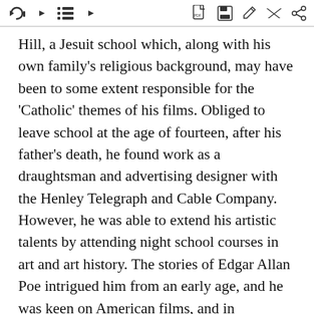[toolbar with navigation and action icons]
Hill, a Jesuit school which, along with his own family's religious background, may have been to some extent responsible for the 'Catholic' themes of his films. Obliged to leave school at the age of fourteen, after his father's death, he found work as a draughtsman and advertising designer with the Henley Telegraph and Cable Company. However, he was able to extend his artistic talents by attending night school courses in art and art history. The stories of Edgar Allan Poe intrigued him from an early age, and he was keen on American films, and in particular those of D. W. Griffith and Buster Keaton. Hearing that a film studio was to be opened in London by the Famous Players-Lasky Company, Hitchcock approached it with a portfolio of his